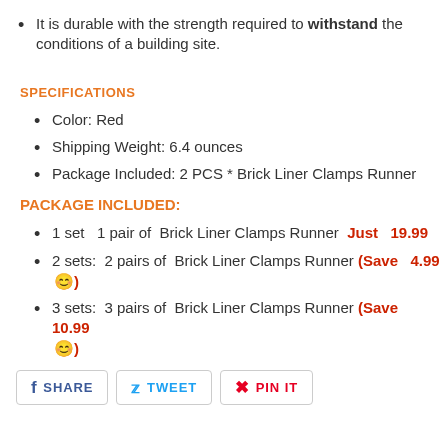It is durable with the strength required to withstand the conditions of a building site.
SPECIFICATIONS
Color: Red
Shipping Weight: 6.4 ounces
Package Included: 2 PCS * Brick Liner Clamps Runner
PACKAGE INCLUDED:
1 set  1 pair of  Brick Liner Clamps Runner  Just  19.99
2 sets:  2 pairs of  Brick Liner Clamps Runner (Save  4.99 😊)
3 sets:  3 pairs of  Brick Liner Clamps Runner (Save  10.99 😊)
SHARE  TWEET  PIN IT